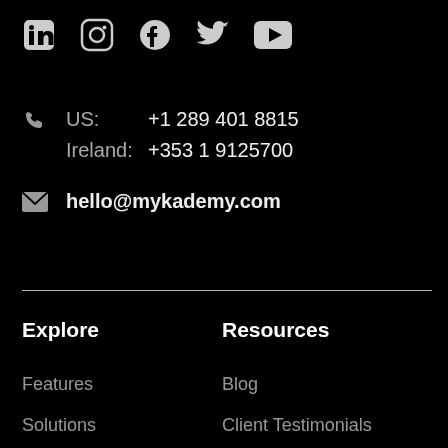[Figure (other): Social media icons row: LinkedIn, Instagram, Facebook, Twitter, YouTube]
US: +1 289 401 8815
Ireland: +353 1 9125700
hello@mykademy.com
Explore
Resources
Features
Blog
Solutions
Client Testimonials
Industry
How to launch an